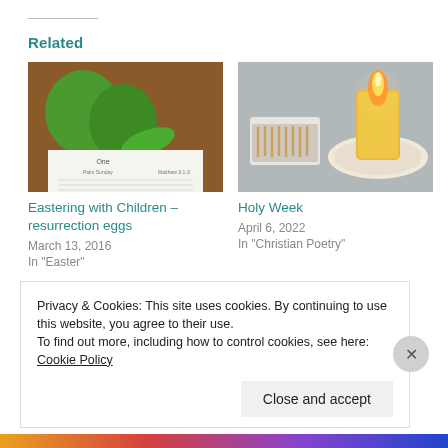Related
[Figure (photo): Green plastic Easter egg cups with a leaf on a printed Bible passage page]
Eastering with Children – resurrection eggs
March 13, 2016
In "Easter"
[Figure (photo): A lit candle on a decorative plate next to an open box of matches]
Holy Week
April 6, 2022
In "Christian Poetry"
[Figure (screenshot): A dark-background screenshot showing an illustrated face with blue-grey hair and a smaller video thumbnail]
Privacy & Cookies: This site uses cookies. By continuing to use this website, you agree to their use.
To find out more, including how to control cookies, see here: Cookie Policy
Close and accept